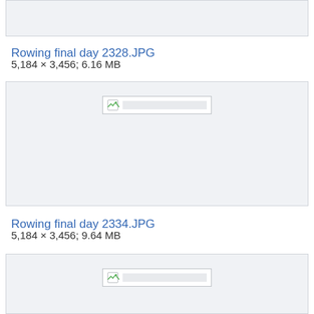[Figure (photo): Top portion of a previous image placeholder, cropped at top of page]
Rowing final day 2328.JPG
5,184 × 3,456; 6.16 MB
[Figure (photo): Broken image placeholder for Rowing final day 2334.JPG — gray box with broken image icon]
Rowing final day 2334.JPG
5,184 × 3,456; 9.64 MB
[Figure (photo): Broken image placeholder for next rowing image — gray box with broken image icon, partially visible]